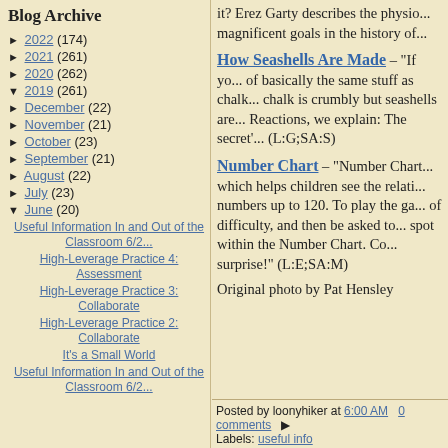Blog Archive
► 2022 (174)
► 2021 (261)
► 2020 (262)
▼ 2019 (261)
► December (22)
► November (21)
► October (23)
► September (21)
► August (22)
► July (23)
▼ June (20)
Useful Information In and Out of the Classroom 6/2...
High-Leverage Practice 4: Assessment
High-Leverage Practice 3: Collaborate
High-Leverage Practice 2: Collaborate
It's a Small World
Useful Information In and Out of the Classroom 6/2...
it? Erez Garty describes the physio... magnificent goals in the history of...
How Seashells Are Made – "If yo... of basically the same stuff as chalk... chalk is crumbly but seashells are... Reactions, we explain: The secret'... (L:G;SA:S)
Number Chart – "Number Chart... which helps children see the relati... numbers up to 120. To play the ga... of difficulty, and then be asked to... spot within the Number Chart. Co... surprise!" (L:E;SA:M)
Original photo by Pat Hensley
Posted by loonyhiker at 6:00 AM   0 comments   | Labels: useful info